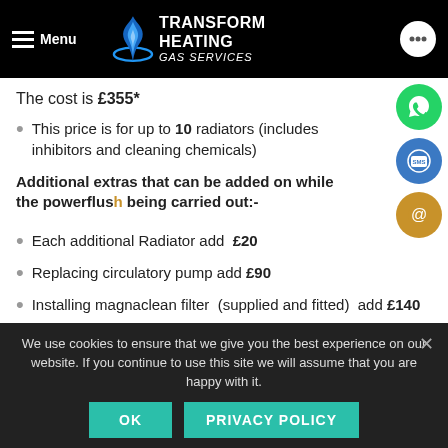Menu | TRANSFORM HEATING GAS SERVICES
The cost is £355*
This price is for up to 10 radiators (includes inhibitors and cleaning chemicals)
Additional extras that can be added on while the powerflush is being carried out:-
Each additional Radiator add £20
Replacing circulatory pump add £90
Installing magnaclean filter (supplied and fitted) add £140
We use cookies to ensure that we give you the best experience on our website. If you continue to use this site we will assume that you are happy with it.